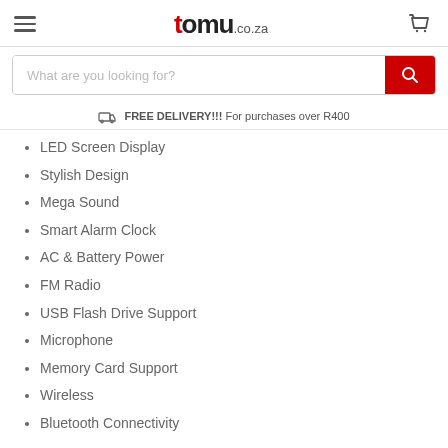tomu.co.za
What are you looking for?
FREE DELIVERY!!! For purchases over R400
LED Screen Display
Stylish Design
Mega Sound
Smart Alarm Clock
AC & Battery Power
FM Radio
USB Flash Drive Support
Microphone
Memory Card Support
Wireless
Bluetooth Connectivity